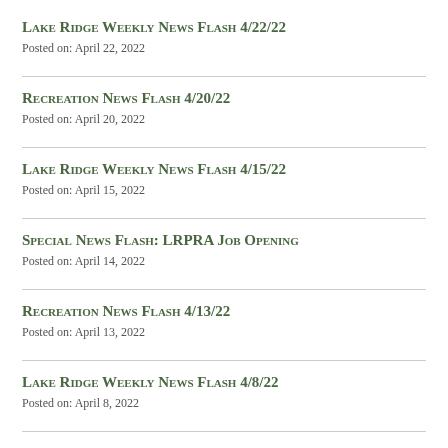Lake Ridge Weekly News Flash 4/22/22
Posted on: April 22, 2022
Recreation News Flash 4/20/22
Posted on: April 20, 2022
Lake Ridge Weekly News Flash 4/15/22
Posted on: April 15, 2022
Special News Flash: LRPRA Job Opening
Posted on: April 14, 2022
Recreation News Flash 4/13/22
Posted on: April 13, 2022
Lake Ridge Weekly News Flash 4/8/22
Posted on: April 8, 2022
Recreation News Flash 4/6/22